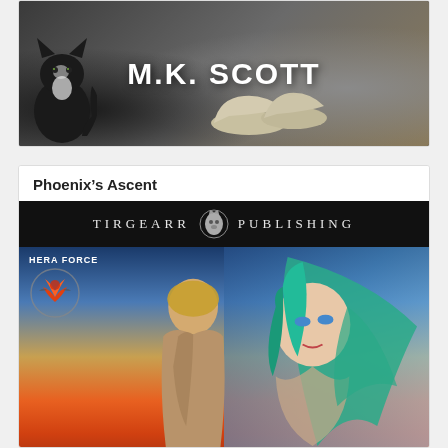[Figure (photo): Book banner image for M.K. Scott showing a black and white cat sitting next to a pair of silver/white shoes on a wooden floor. Large white bold text reads 'M.K. SCOTT' overlaid on the image.]
Phoenix’s Ascent
[Figure (photo): Book cover for 'Phoenix's Ascent' by Tirgearr Publishing's Hera Force series. Top black banner reads 'TIRGEARR PUBLISHING' with a wolf/fox emblem. Below shows two figures: a blonde man facing away and a woman with teal/turquoise hair facing forward, against a dramatic sky with orange fire and blue clouds. 'HERA FORCE' logo with a bird/phoenix in a circle appears top-left.]